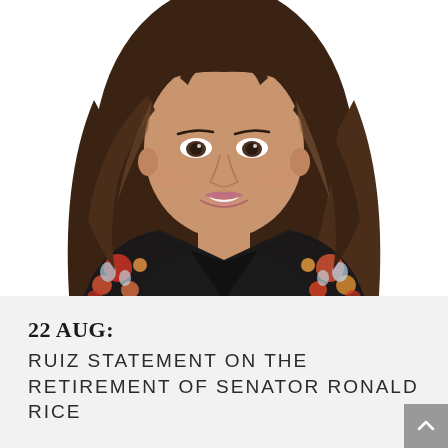[Figure (photo): Professional portrait photo of a woman with long wavy brunette hair with highlights, smiling, wearing a black floral blazer with red, orange, and blue flowers, against a white background.]
22 AUG:
RUIZ STATEMENT ON THE RETIREMENT OF SENATOR RONALD RICE